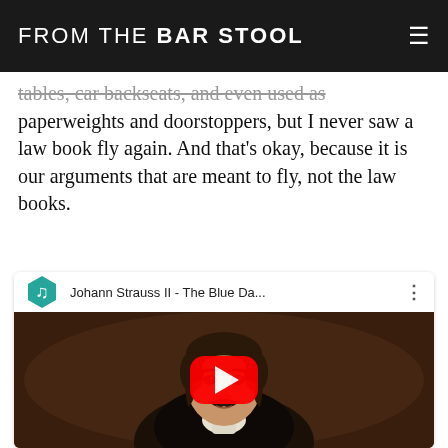FROM THE BAR STOOL
tables, car backseats, and even used as paperweights and doorstoppers, but I never saw a law book fly again. And that's okay, because it is our arguments that are meant to fly, not the law books.
[Figure (screenshot): YouTube video embed showing Johann Strauss II - The Blue Da... with a portrait painting of a man with a mustache wearing formal attire as the thumbnail, and a red YouTube play button in the center.]